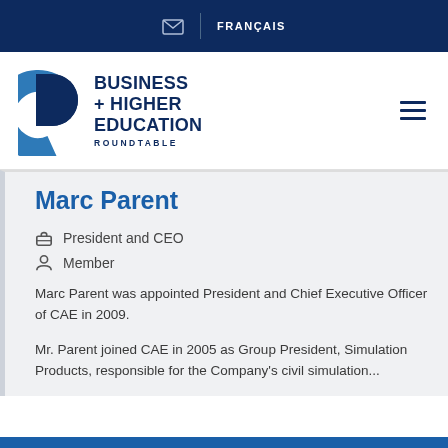✉ | FRANÇAIS
[Figure (logo): Business + Higher Education Roundtable logo with circular blue D shape and text]
Marc Parent
President and CEO
Member
Marc Parent was appointed President and Chief Executive Officer of CAE in 2009.
Mr. Parent joined CAE in 2005 as Group President, Simulation Products, responsible for the Company's civil simulation...